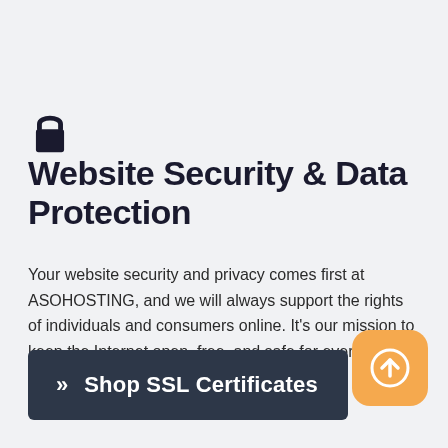Website Security & Data Protection
Your website security and privacy comes first at ASOHOSTING, and we will always support the rights of individuals and consumers online. It's our mission to keep the Internet open, free, and safe for everyone.
[Figure (illustration): Orange rounded square button with a white upward arrow icon]
»  Shop SSL Certificates